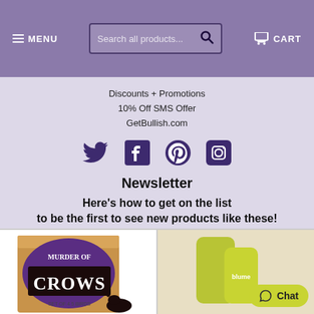MENU | Search all products... | CART
Discounts + Promotions
10% Off SMS Offer
GetBullish.com
[Figure (infographic): Social media icons: Twitter, Facebook, Pinterest, Instagram in dark purple]
Newsletter
Here's how to get on the list to be the first to see new products like these!
[Figure (photo): Murder of Crows card game box with a black crow figurine]
[Figure (photo): Yellow-green skincare product pouches labeled 'blume' with a Chat button overlay]